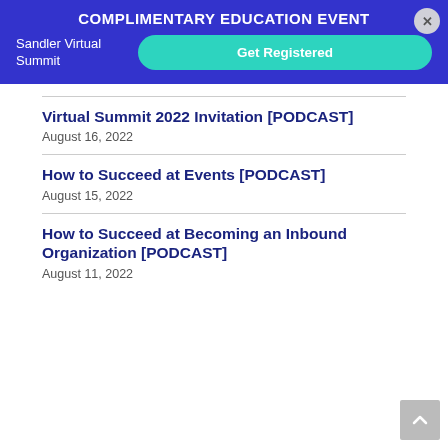COMPLIMENTARY EDUCATION EVENT
Sandler Virtual Summit
Get Registered
Virtual Summit 2022 Invitation [PODCAST]
August 16, 2022
How to Succeed at Events [PODCAST]
August 15, 2022
How to Succeed at Becoming an Inbound Organization [PODCAST]
August 11, 2022